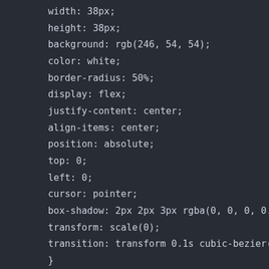[Figure (screenshot): Code editor screenshot showing CSS code with dark background. The code includes properties: width: 38px; height: 38px; background: rgb(246, 54, 54); color: white; border-radius: 50%; display: flex; justify-content: center; align-items: center; position: absolute; top: 0; left: 0; cursor: pointer; box-shadow: 2px 2px 3px rgba(0, 0, 0, 0.212); transform: scale(0); transition: transform 0.1s cubic-bezier(0.23 } .nav-items:hover { transform: scale(1.1); transition-timing-function: 0.1s; } .items1 { top: -100%; left: 5%; }]